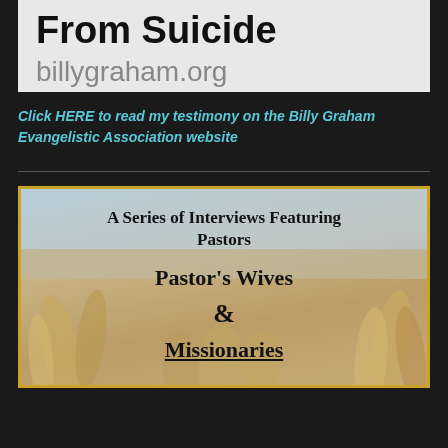From Suicide
billygraham.org
Click HERE to read my testimony on the Billy Graham Evangelistic Association website
[Figure (illustration): A Series of Interviews Featuring Pastors, Pastor's Wives & Missionaries — shown over a blurred wheat/grain field background with a golden border. Text partially cut off at bottom showing 'Missionaries'.]